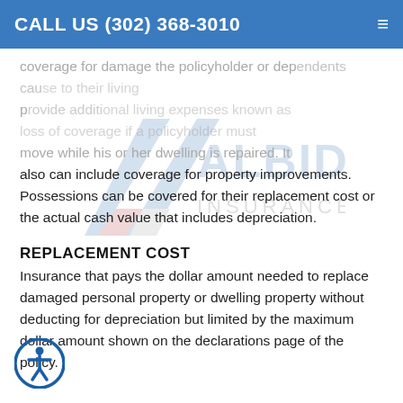CALL US (302) 368-3010
[Figure (logo): Albidress Insurance Agency watermark logo with blue and red chevron/arrow graphic and text ALBIDRESS INSURANCE AGENCY]
coverage for damage the policyholder or dependents cause to their living property, provide additional living expenses known as loss of coverage if a policyholder must move while his or her dwelling is repaired. It also can include coverage for property improvements. Possessions can be covered for their replacement cost or the actual cash value that includes depreciation.
REPLACEMENT COST
Insurance that pays the dollar amount needed to replace damaged personal property or dwelling property without deducting for depreciation but limited by the maximum dollar amount shown on the declarations page of the policy.